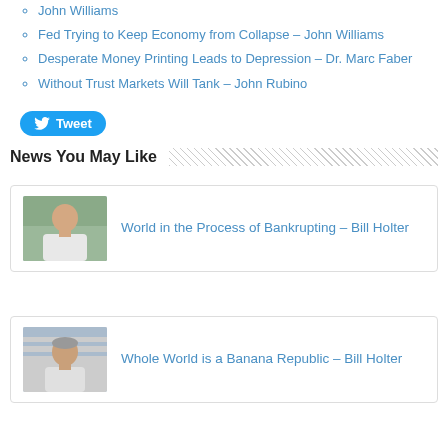John Williams
Fed Trying to Keep Economy from Collapse – John Williams
Desperate Money Printing Leads to Depression – Dr. Marc Faber
Without Trust Markets Will Tank – John Rubino
[Figure (other): Tweet button with Twitter bird icon]
News You May Like
[Figure (photo): Photo of a bald man in white shirt, thumbnail for article card]
World in the Process of Bankrupting – Bill Holter
[Figure (photo): Photo of a man with grey hair in white shirt, thumbnail for article card]
Whole World is a Banana Republic – Bill Holter